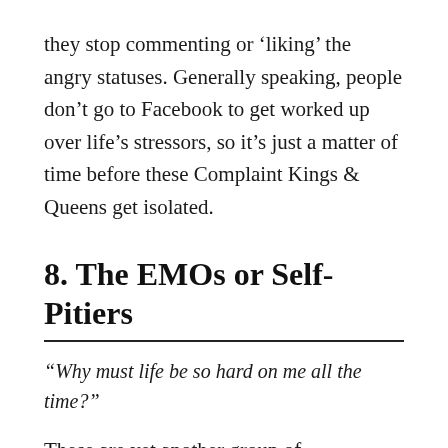they stop commenting or 'liking' the angry statuses. Generally speaking, people don't go to Facebook to get worked up over life's stressors, so it's just a matter of time before these Complaint Kings & Queens get isolated.
8. The EMOs or Self-Pitiers
“Why must life be so hard on me all the time?”
These are yet another group of Facebookers who thrive on negative energy. Similar to Complaint Kings & Queens, they believe that the world is against them. However, they take a more